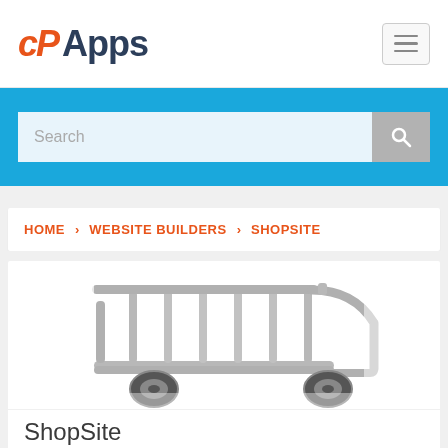cP Apps
[Figure (screenshot): Search bar with placeholder text 'Search' on a blue background]
HOME > WEBSITE BUILDERS > SHOPSITE
[Figure (photo): 3D rendering of a chrome/silver shopping cart viewed from the side, cropped showing basket and wheels]
ShopSite